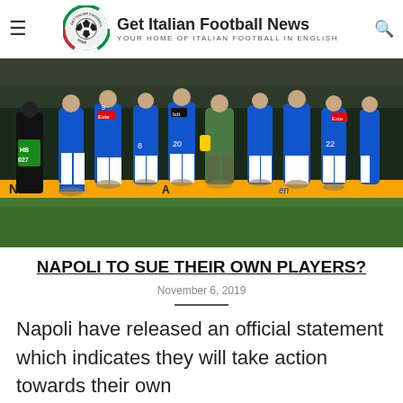Get Italian Football News – YOUR HOME OF ITALIAN FOOTBALL IN ENGLISH
[Figure (photo): Napoli football players in blue kits standing on the pitch, some with hands raised, at a stadium night match. A person in black clothing with accreditation badge (HB 027) is visible on the left. Advertising boards visible in the background.]
NAPOLI TO SUE THEIR OWN PLAYERS?
November 6, 2019
Napoli have released an official statement which indicates they will take action towards their own